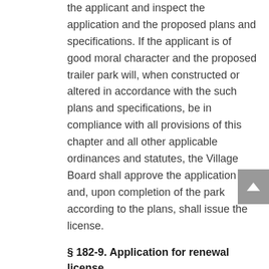the applicant and inspect the application and the proposed plans and specifications. If the applicant is of good moral character and the proposed trailer park will, when constructed or altered in accordance with the such plans and specifications, be in compliance with all provisions of this chapter and all other applicable ordinances and statutes, the Village Board shall approve the application and, upon completion of the park according to the plans, shall issue the license.
§ 182-9. Application for renewal license.
Upon application in writing by a licensee for renewal of a license and upon payment of the annual license fee, the Village Board shall issue a certificate renewing such license for another year.